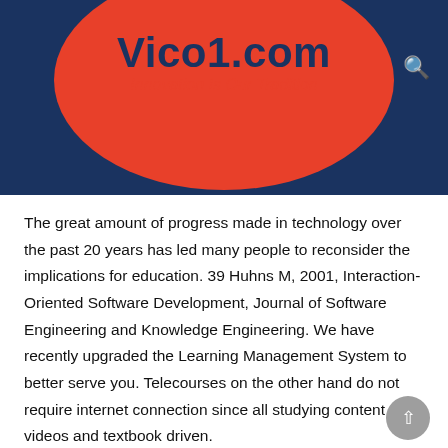Vico1.com
Innovation Is Our Tradition
The great amount of progress made in technology over the past 20 years has led many people to reconsider the implications for education. 39 Huhns M, 2001, Interaction-Oriented Software Development, Journal of Software Engineering and Knowledge Engineering. We have recently upgraded the Learning Management System to better serve you. Telecourses on the other hand do not require internet connection since all studying content are videos and textbook driven.
Training Magazine reported that technology-based training has proven to have a 50-60% better consistency of learning than traditional classroom learning (c-learning). Technology used to deliver an e-learning program is synchronous or asynchronous.